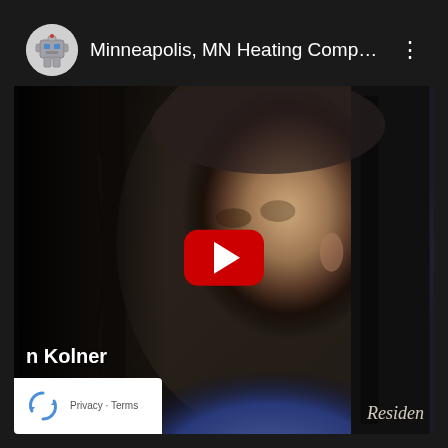[Figure (screenshot): YouTube video embed showing a man in a blue shirt looking sideways near heating equipment. The video title bar shows 'Minneapolis, MN Heating Company...' with a robot/HVAC mascot avatar. A red play button is centered on the video. Lower left shows partial text 'n Kolner' and a reCAPTCHA widget with Privacy and Terms links. Bottom right shows 'Residen' watermark (partially cut off).]